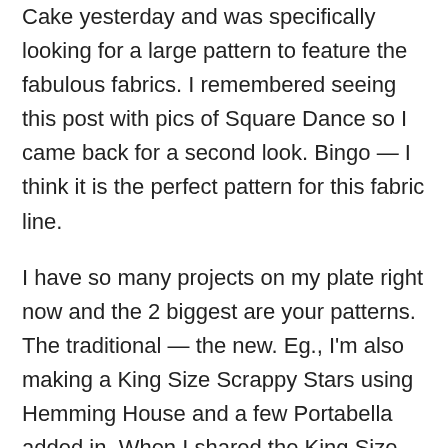Cake yesterday and was specifically looking for a large pattern to feature the fabulous fabrics. I remembered seeing this post with pics of Square Dance so I came back for a second look. Bingo — I think it is the perfect pattern for this fabric line.
I have so many projects on my plate right now and the 2 biggest are your patterns. The traditional — the new. Eg., I'm also making a King Size Scrappy Stars using Hemming House and a few Portabella added in. When I shared the King Size plan with my blog friends they went ape over your Anka's Treasure book and bought it.
Your patterns and fabric choices are so